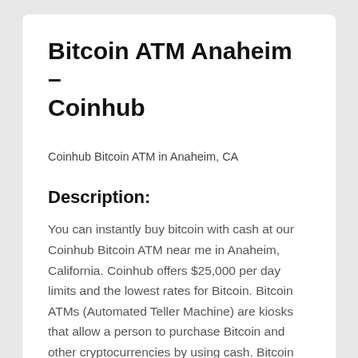Bitcoin ATM Anaheim – Coinhub
Coinhub Bitcoin ATM in Anaheim, CA
Description:
You can instantly buy bitcoin with cash at our Coinhub Bitcoin ATM near me in Anaheim, California. Coinhub offers $25,000 per day limits and the lowest rates for Bitcoin. Bitcoin ATMs (Automated Teller Machine) are kiosks that allow a person to purchase Bitcoin and other cryptocurrencies by using cash. Bitcoin cash kiosks look like traditional ATMs, but do not connect to a bank account and instead connect the user directly to a Bitcoin wallet or exchange. Coinhub Bitcoin